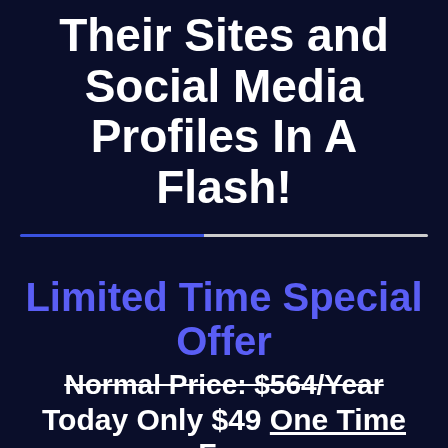Their Sites and Social Media Profiles In A Flash!
Limited Time Special Offer
Normal Price: $564/Year
Today Only $49 One Time Fee